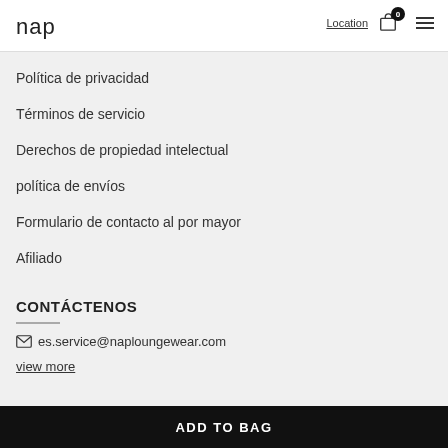nap | Location | 0 | menu
Política de privacidad
Términos de servicio
Derechos de propiedad intelectual
política de envíos
Formulario de contacto al por mayor
Afiliado
CONTÁCTENOS
es.service@naploungewear.com
view more
ADD TO BAG